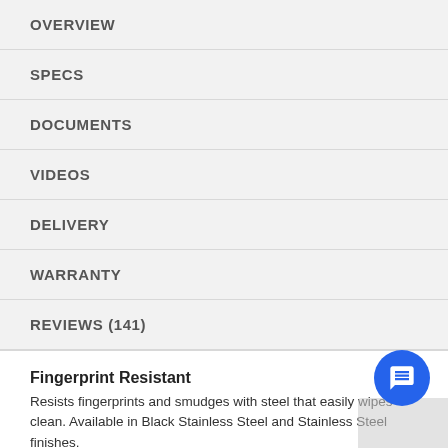OVERVIEW
SPECS
DOCUMENTS
VIDEOS
DELIVERY
WARRANTY
REVIEWS (141)
Fingerprint Resistant
Resists fingerprints and smudges with steel that easily wipes clean. Available in Black Stainless Steel and Stainless Steel finishes.
ENERGY STAR® Certified
ENERGY STAR® certified models exceed government standards and help save money on your utility bills.